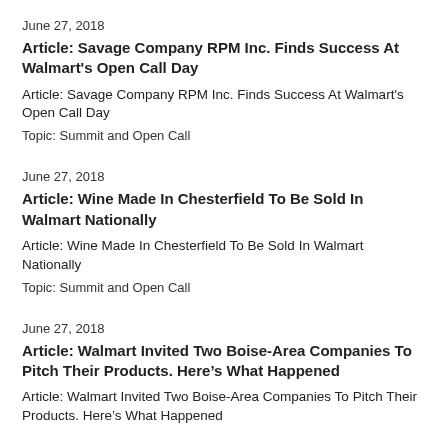June 27, 2018
Article: Savage Company RPM Inc. Finds Success At Walmart's Open Call Day
Article: Savage Company RPM Inc. Finds Success At Walmart's Open Call Day
Topic: Summit and Open Call
June 27, 2018
Article: Wine Made In Chesterfield To Be Sold In Walmart Nationally
Article: Wine Made In Chesterfield To Be Sold In Walmart Nationally
Topic: Summit and Open Call
June 27, 2018
Article: Walmart Invited Two Boise-Area Companies To Pitch Their Products. Here’s What Happened
Article: Walmart Invited Two Boise-Area Companies To Pitch Their Products. Here’s What Happened